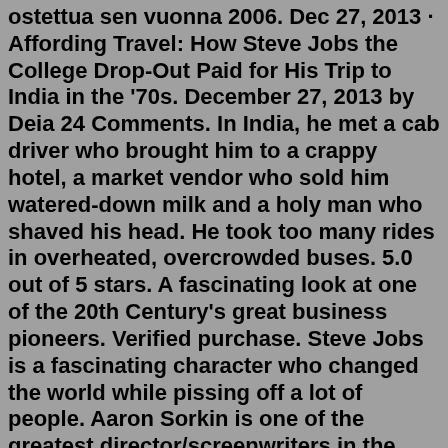ostettua sen vuonna 2006. Dec 27, 2013 · Affording Travel: How Steve Jobs the College Drop-Out Paid for His Trip to India in the '70s. December 27, 2013 by Deia 24 Comments. In India, he met a cab driver who brought him to a crappy hotel, a market vendor who sold him watered-down milk and a holy man who shaved his head. He took too many rides in overheated, overcrowded buses. 5.0 out of 5 stars. A fascinating look at one of the 20th Century's great business pioneers. Verified purchase. Steve Jobs is a fascinating character who changed the world while pissing off a lot of people. Aaron Sorkin is one of the greatest director/screenwriters in the history of Hollywood. American business magnate, industrial designer, investor, and media proprietor Steve Jobs had an estimated net worth of $10 billion dollars, at the time of his death in 2011. Today, the Apple company Steve Jobs co-founded is a trillion-dollar multinational conglomerate. Jobs was worth over $1 million in 1978, when he was just 23 years old. Steven Paul Jobs was an American inventor, designer and